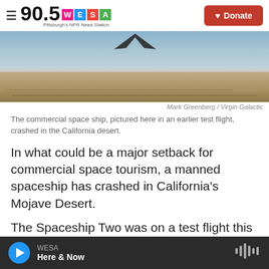90.5 WESA Pittsburgh's NPR News Station | Donate
[Figure (photo): Aerial photo of a commercial spaceship (partial view at top) flying above a wide desert landscape under a hazy sky, viewed from above. The Mojave Desert terrain is visible below.]
Mark Greenberg / Virgin Galactic
The commercial space ship, pictured here in an earlier test flight, crashed in the California desert.
In what could be a major setback for commercial space tourism, a manned spaceship has crashed in California's Mojave Desert.
The Spaceship Two was on a test flight this morning, with two pilots aboard. Minutes after its
WESA Here & Now